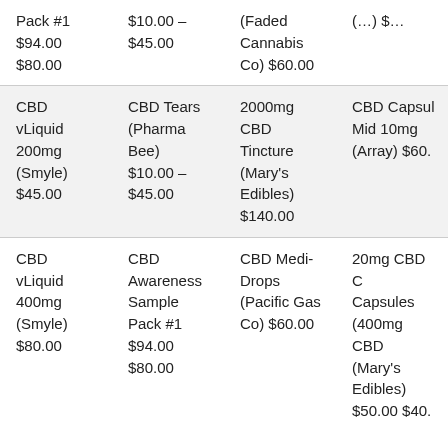| Pack #1 $94.00 $80.00 | $10.00 – $45.00 | (Faded Cannabis Co) $60.00 | (…) $… |
| CBD vLiquid 200mg (Smyle) $45.00 | CBD Tears (Pharma Bee) $10.00 – $45.00 | 2000mg CBD Tincture (Mary's Edibles) $140.00 | CBD Capsul Mid 10mg (Array) $60. |
| CBD vLiquid 400mg (Smyle) $80.00 | CBD Awareness Sample Pack #1 $94.00 $80.00 | CBD Medi-Drops (Pacific Gas Co) $60.00 | 20mg CBD C Capsules (400mg CBD (Mary's Edibles) $50.00 $40. |